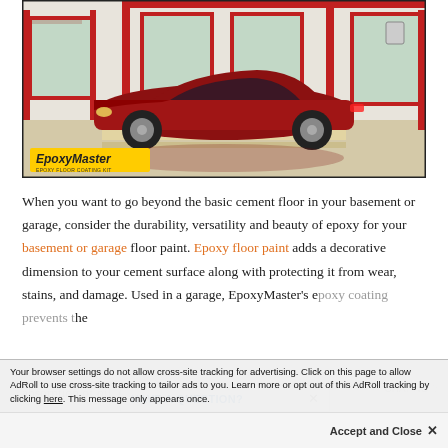[Figure (photo): Red Corvette sports car parked in a garage with a shiny epoxy-coated floor, white walls with red trim, and multiple windows. EpoxyMaster logo visible in lower left corner.]
When you want to go beyond the basic cement floor in your basement or garage, consider the durability, versatility and beauty of epoxy for your basement or garage floor paint. Epoxy floor paint adds a decorative dimension to your cement surface along with protecting it from wear, stains, and damage. Used in a garage, EpoxyMaster's e[poxy floor coating prevents] the absorption of oil, doesn't [fade…]
HAVE A QUESTION? ×
Accept and Close ×
Your browser settings do not allow cross-site tracking for advertising. Click on this page to allow AdRoll to use cross-site tracking to tailor ads to you. Learn more or opt out of this AdRoll tracking by clicking here. This message only appears once.